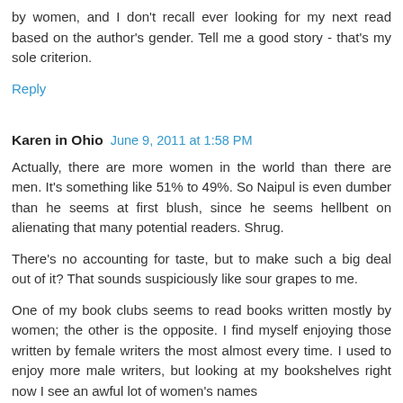by women, and I don't recall ever looking for my next read based on the author's gender. Tell me a good story - that's my sole criterion.
Reply
Karen in Ohio   June 9, 2011 at 1:58 PM
Actually, there are more women in the world than there are men. It's something like 51% to 49%. So Naipul is even dumber than he seems at first blush, since he seems hellbent on alienating that many potential readers. Shrug.
There's no accounting for taste, but to make such a big deal out of it? That sounds suspiciously like sour grapes to me.
One of my book clubs seems to read books written mostly by women; the other is the opposite. I find myself enjoying those written by female writers the most almost every time. I used to enjoy more male writers, but looking at my bookshelves right now I see an awful lot of women's names